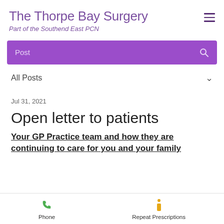The Thorpe Bay Surgery
Part of the Southend East PCN
[Figure (screenshot): Purple search bar with text 'Post' and a search icon on the right]
All Posts
Jul 31, 2021
Open letter to patients
Your GP Practice team and how they are continuing to care for you and your family
Phone   Repeat Prescriptions